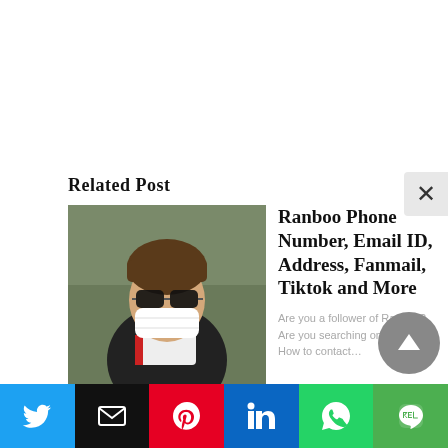Related Post
[Figure (photo): Young person with sunglasses and face mask, wearing a black and white jacket]
Ranboo Phone Number, Email ID, Address, Fanmail, Tiktok and More
Are you a follower of Ranboo? Are you searching on google for How to contact…
[Figure (photo): Young man in red hoodie smiling in front of pink flowers]
Andrew Davila Phone Number, Email ID, Address, Fanmail, Tiktok and More
Are you a follower of Andrew Davila? Are you searching on google for How to…
Sarah Magusara Phone Number,